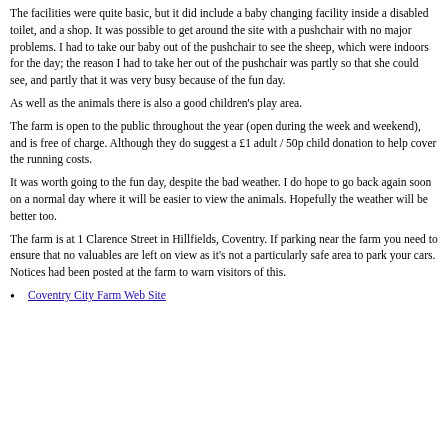The facilities were quite basic, but it did include a baby changing facility inside a disabled toilet, and a shop. It was possible to get around the site with a pushchair with no major problems. I had to take our baby out of the pushchair to see the sheep, which were indoors for the day; the reason I had to take her out of the pushchair was partly so that she could see, and partly that it was very busy because of the fun day.
As well as the animals there is also a good children's play area.
The farm is open to the public throughout the year (open during the week and weekend), and is free of charge. Although they do suggest a £1 adult / 50p child donation to help cover the running costs.
It was worth going to the fun day, despite the bad weather. I do hope to go back again soon on a normal day where it will be easier to view the animals. Hopefully the weather will be better too.
The farm is at 1 Clarence Street in Hillfields, Coventry. If parking near the farm you need to ensure that no valuables are left on view as it's not a particularly safe area to park your cars. Notices had been posted at the farm to warn visitors of this.
Coventry City Farm Web Site